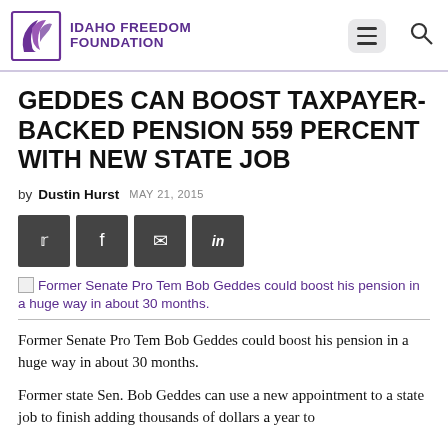Idaho Freedom Foundation
GEDDES CAN BOOST TAXPAYER-BACKED PENSION 559 PERCENT WITH NEW STATE JOB
by Dustin Hurst MAY 21, 2015
[Figure (screenshot): Social sharing buttons: Twitter, Facebook, Email, LinkedIn]
[Figure (photo): Former Senate Pro Tem Bob Geddes could boost his pension in a huge way in about 30 months.]
Former Senate Pro Tem Bob Geddes could boost his pension in a huge way in about 30 months.
Former state Sen. Bob Geddes can use a new appointment to a state job to finish adding thousands of dollars a year to